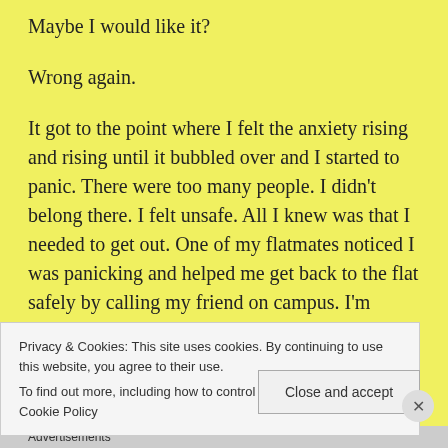Maybe I would like it?
Wrong again.
It got to the point where I felt the anxiety rising and rising until it bubbled over and I started to panic. There were too many people. I didn't belong there. I felt unsafe. All I knew was that I needed to get out. One of my flatmates noticed I was panicking and helped me get back to the flat safely by calling my friend on campus. I'm pretty sure I ruined his match on Call of Duty.
Privacy & Cookies: This site uses cookies. By continuing to use this website, you agree to their use.
To find out more, including how to control cookies, see here: Cookie Policy
Close and accept
Advertisements